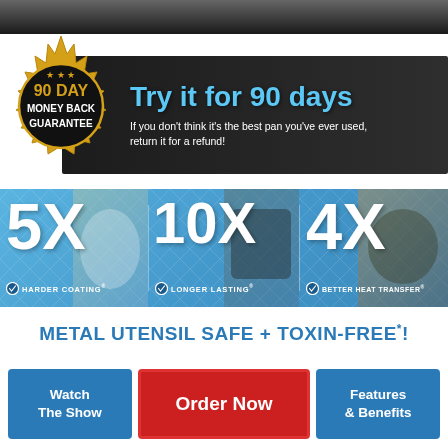[Figure (illustration): Dark gradient top bar]
[Figure (illustration): 90 Day Money Back Guarantee badge with gold star/seal design on dark banner. Text reads: Try it for 90 days. If you don't think it's the best pan you've ever used, return it for a refund!]
[Figure (infographic): Blue feature banner with three sections: 5X HARDER COATING, 10X LONGER LASTING, 4X BETTER HEAT TRANSFER, each with corresponding food/pan images]
METAL UTENSIL SAFE + TOXIN-FREE*!
Watch The Show
Order Now
Features & Benefits